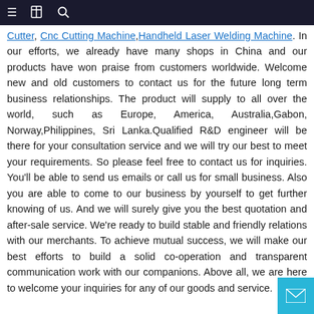Navigation bar with menu, bookmark, and search icons
Cutter, Cnc Cutting Machine, Handheld Laser Welding Machine. In our efforts, we already have many shops in China and our products have won praise from customers worldwide. Welcome new and old customers to contact us for the future long term business relationships. The product will supply to all over the world, such as Europe, America, Australia,Gabon, Norway,Philippines, Sri Lanka.Qualified R&D engineer will be there for your consultation service and we will try our best to meet your requirements. So please feel free to contact us for inquiries. You'll be able to send us emails or call us for small business. Also you are able to come to our business by yourself to get further knowing of us. And we will surely give you the best quotation and after-sale service. We're ready to build stable and friendly relations with our merchants. To achieve mutual success, we will make our best efforts to build a solid co-operation and transparent communication work with our companions. Above all, we are here to welcome your inquiries for any of our goods and service.